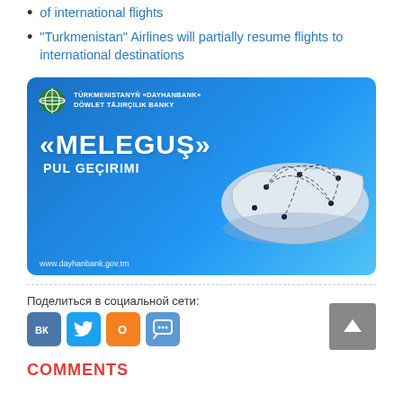of international flights
“Turkmenistan” Airlines will partially resume flights to international destinations
[Figure (illustration): Advertisement banner for Dayhanbank Melegus money transfer service showing blue background with stylized map of Turkmenistan and text «MELEGUS» PUL GEÇIRIMI, www.dayhanbank.gov.tm]
Поделиться в социальной сети:
COMMENTS